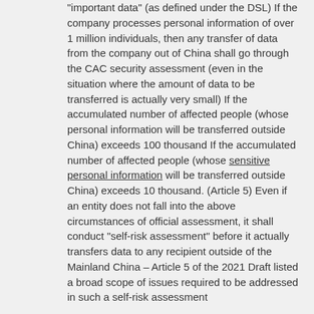“important data” (as defined under the DSL) If the company processes personal information of over 1 million individuals, then any transfer of data from the company out of China shall go through the CAC security assessment (even in the situation where the amount of data to be transferred is actually very small) If the accumulated number of affected people (whose personal information will be transferred outside China) exceeds 100 thousand If the accumulated number of affected people (whose sensitive personal information will be transferred outside China) exceeds 10 thousand. (Article 5) Even if an entity does not fall into the above circumstances of official assessment, it shall conduct “self-risk assessment” before it actually transfers data to any recipient outside of the Mainland China – Article 5 of the 2021 Draft listed a broad scope of issues required to be addressed in such a self-risk assessment.